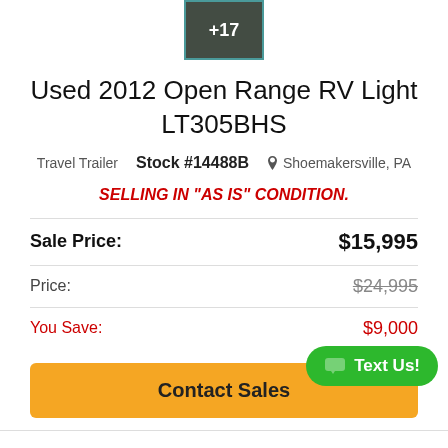[Figure (photo): Thumbnail image of RV interior with '+17' overlay indicating more photos]
Used 2012 Open Range RV Light LT305BHS
Travel Trailer  Stock #14488B  Shoemakersville, PA
SELLING IN "AS IS" CONDITION.
|  |  |
| --- | --- |
| Sale Price: | $15,995 |
| Price: | $24,995 |
| You Save: | $9,000 |
Contact Sales
Text Us!